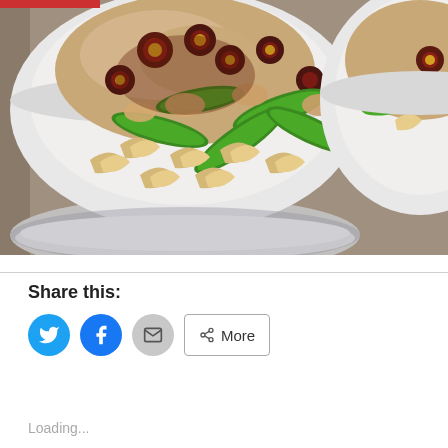[Figure (photo): Two white ceramic bowls filled with stir-fry dish containing cashews, snap peas, dark glazed pieces (possibly water chestnuts or plums), chicken, and brown rice, on a gray surface. Left bowl is prominent in frame, right bowl partially visible at right edge.]
Share this:
Loading...